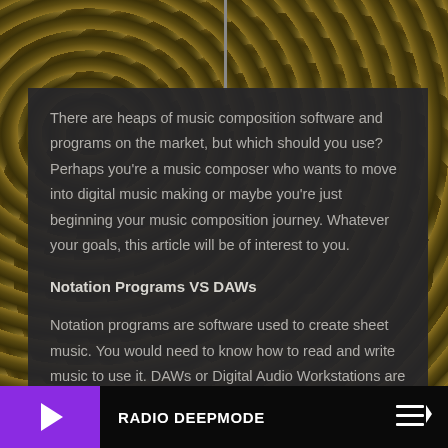[Figure (photo): Background photo showing yellow-orange lichen or moss on rocky/textured surface, with a thin vertical gray bar near the center top]
There are heaps of music composition software and programs on the market, but which should you use? Perhaps you're a music composer who wants to move into digital music making or maybe you're just beginning your music composition journey. Whatever your goals, this article will be of interest to you.
Notation Programs VS DAWs
Notation programs are software used to create sheet music. You would need to know how to read and write music to use it. DAWs or Digital Audio Workstations are also for
RADIO DEEPMODE